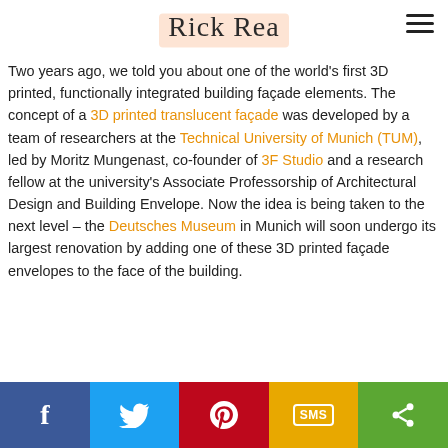Rick Rea
Two years ago, we told you about one of the world's first 3D printed, functionally integrated building façade elements. The concept of a 3D printed translucent façade was developed by a team of researchers at the Technical University of Munich (TUM), led by Moritz Mungenast, co-founder of 3F Studio and a research fellow at the university's Associate Professorship of Architectural Design and Building Envelope. Now the idea is being taken to the next level – the Deutsches Museum in Munich will soon undergo its largest renovation by adding one of these 3D printed façade envelopes to the face of the building.
[Figure (photo): Partial view of a 3D printed translucent façade element, blue-toned architectural image]